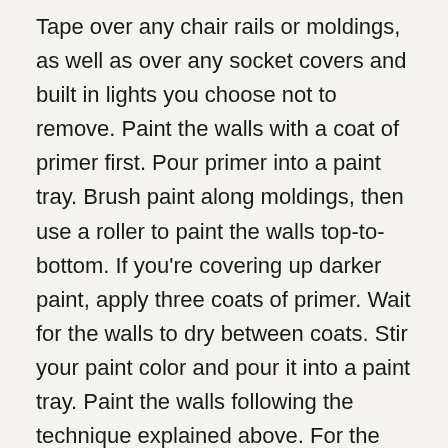Tape over any chair rails or moldings, as well as over any socket covers and built in lights you choose not to remove. Paint the walls with a coat of primer first. Pour primer into a paint tray. Brush paint along moldings, then use a roller to paint the walls top-to-bottom. If you're covering up darker paint, apply three coats of primer. Wait for the walls to dry between coats. Stir your paint color and pour it into a paint tray. Paint the walls following the technique explained above. For the most even coverage, paint long strokes in a zig zag pattern with the paint roller. Source: (Hannah Busing / Unsplash)3. Style your fireplace with a floating mantel The hearth of your home, your fireplace deserves to be the center of attention. Elevate its appearance in one weekend by fitting a new mantelpiece and fireplace screen.
Decor purchases: Floating mantel (classic: Middle